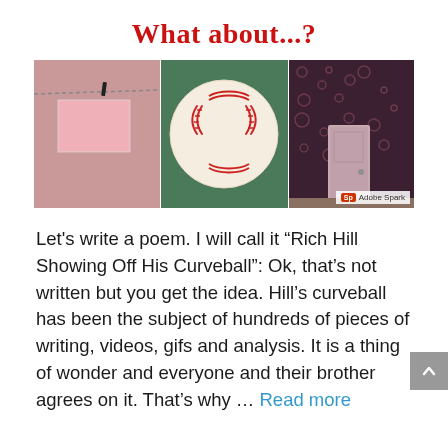What about...?
[Figure (illustration): A banner image composed of three panels: left panel shows a pink wall with a string/clothesline and a pink note card clipped to it; center panel shows a baseball on a green background; right panel shows a patterned wallpaper with a pink door.]
Let’s write a poem. I will call it “Rich Hill Showing Off His Curveball”: Ok, that’s not written but you get the idea. Hill’s curveball has been the subject of hundreds of pieces of writing, videos, gifs and analysis. It is a thing of wonder and everyone and their brother agrees on it. That’s why … Read more